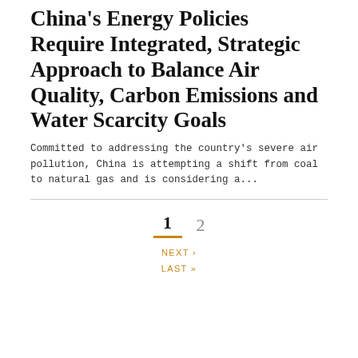China's Energy Policies Require Integrated, Strategic Approach to Balance Air Quality, Carbon Emissions and Water Scarcity Goals
Committed to addressing the country's severe air pollution, China is attempting a shift from coal to natural gas and is considering a...
1   2   NEXT ›   LAST »